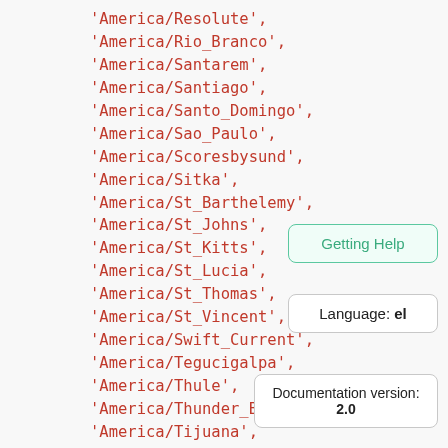'America/Resolute',
'America/Rio_Branco',
'America/Santarem',
'America/Santiago',
'America/Santo_Domingo',
'America/Sao_Paulo',
'America/Scoresbysund',
'America/Sitka',
'America/St_Barthelemy',
'America/St_Johns',
'America/St_Kitts',
'America/St_Lucia',
'America/St_Thomas',
'America/St_Vincent',
'America/Swift_Current',
'America/Tegucigalpa',
'America/Thule',
'America/Thunder_Bay',
'America/Tijuana',
'America/Toronto',
'America/Tortola',
Getting Help
Language: el
Documentation version: 2.0